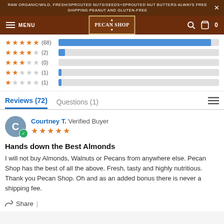RAW ORGANIC/WILD, FRESH/SPROUTED NUTS/SEEDS+SPROUTED NUT BUTTERS-ALWAYS FREE SHIPPING-PEANUT AND GLUTEN-FREE
[Figure (screenshot): Pecan Shop website navigation bar with hamburger menu, logo, search icon, and cart (0)]
[Figure (bar-chart): Star rating distribution]
Reviews (72)  Questions (1)
Courtney T. Verified Buyer
Hands down the Best Almonds
I will not buy Almonds, Walnuts or Pecans from anywhere else. Pecan Shop has the best of all the above. Fresh, tasty and highly nutritious. Thank you Pecan Shop. Oh and as an added bonus there is never a shipping fee.
Share |